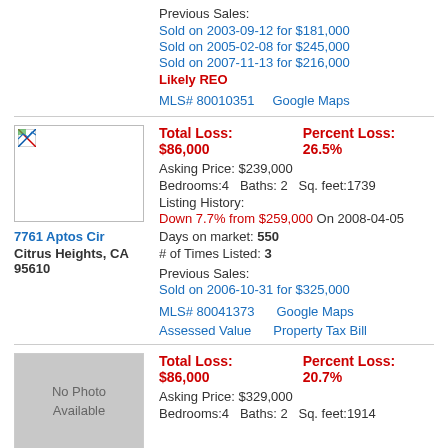Previous Sales:
Sold on 2003-09-12 for $181,000
Sold on 2005-02-08 for $245,000
Sold on 2007-11-13 for $216,000
Likely REO
MLS# 80010351    Google Maps
Total Loss: $86,000    Percent Loss: 26.5%
Asking Price: $239,000
Bedrooms:4   Baths: 2   Sq. feet:1739
Listing History:
Down 7.7% from $259,000 On 2008-04-05
Days on market: 550
# of Times Listed: 3
Previous Sales:
Sold on 2006-10-31 for $325,000
MLS# 80041373    Google Maps
Assessed Value    Property Tax Bill
7761 Aptos Cir
Citrus Heights, CA 95610
Total Loss: $86,000    Percent Loss: 20.7%
Asking Price: $329,000
Bedrooms:4   Baths: 2   Sq. feet:1914